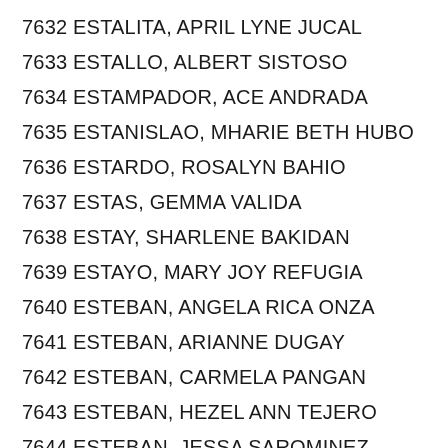7632 ESTALITA, APRIL LYNE JUCAL
7633 ESTALLO, ALBERT SISTOSO
7634 ESTAMPADOR, ACE ANDRADA
7635 ESTANISLAO, MHARIE BETH HUBO
7636 ESTARDO, ROSALYN BAHIO
7637 ESTAS, GEMMA VALIDA
7638 ESTAY, SHARLENE BAKIDAN
7639 ESTAYO, MARY JOY REFUGIA
7640 ESTEBAN, ANGELA RICA ONZA
7641 ESTEBAN, ARIANNE DUGAY
7642 ESTEBAN, CARMELA PANGAN
7643 ESTEBAN, HEZEL ANN TEJERO
7644 ESTEBAN, JESSA SAROMINEZ
7645 ESTEBAN, JOHN MICHAEL DAVID
7646 ESTEBAN, KAREN EWAD